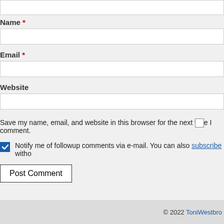Name *
Email *
Website
Save my name, email, and website in this browser for the next time I comment.
Notify me of followup comments via e-mail. You can also subscribe witho...
Post Comment
© 2022 ToniWestbro...